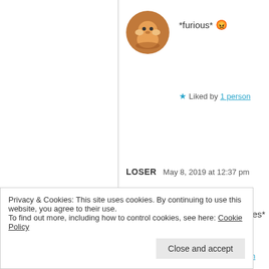[Figure (illustration): Round avatar with orange/brown background showing a cartoon hamster/gopher character]
*furious* 😡
★ Liked by 1 person
LOSER   May 8, 2019 at 12:37 pm
[Figure (illustration): Round light gray avatar with small dark hedgehog/creature illustration]
*makes weird faces*
★ Liked by 1 person
MS. EAGER BEAVER   May 8, 2019 at 12:38 pm
Privacy & Cookies: This site uses cookies. By continuing to use this website, you agree to their use.
To find out more, including how to control cookies, see here: Cookie Policy